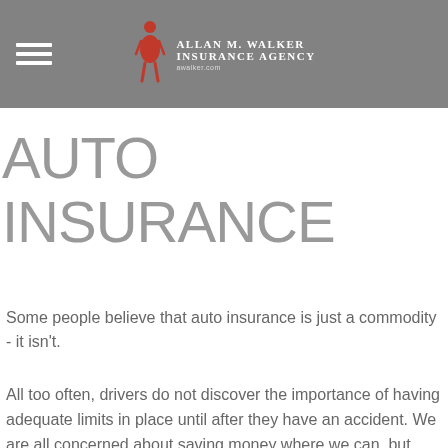Allan M. Walker Insurance Agency
AUTO INSURANCE
Some people believe that auto insurance is just a commodity - it isn't.
All too often, drivers do not discover the importance of having adequate limits in place until after they have an accident. We are all concerned about saving money where we can, but trying to cut corners on your insurance coverage may cost you much more in the long run if you